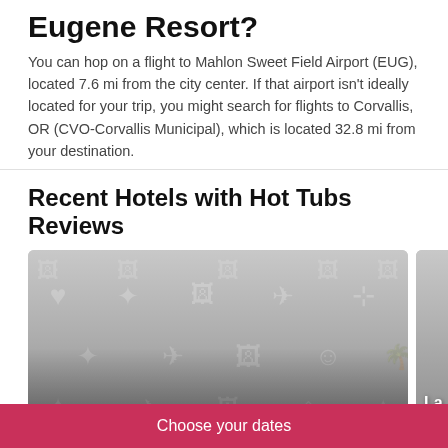Eugene Resort?
You can hop on a flight to Mahlon Sweet Field Airport (EUG), located 7.6 mi from the city center. If that airport isn't ideally located for your trip, you might search for flights to Corvallis, OR (CVO-Corvallis Municipal), which is located 32.8 mi from your destination.
Recent Hotels with Hot Tubs Reviews
[Figure (photo): Hotel card image for Hayward Inn with icon grid overlay. Label reads 'Hayward Inn'.]
[Figure (photo): Partially visible hotel card to the right with label starting 'La' and 'W'.]
5/5 Excellent
5/5
Choose your dates